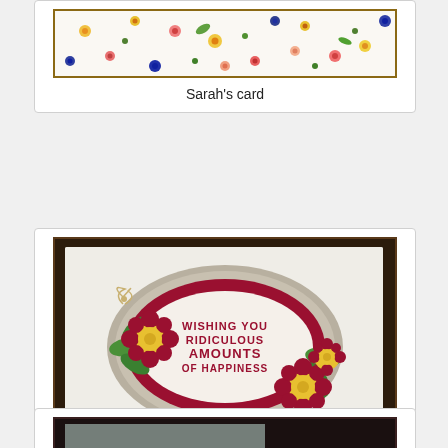[Figure (photo): Sarah's handmade card with colorful floral patterned paper - multiple small flowers in yellow, red, blue, green on white background, partially cropped at top]
Sarah's card
[Figure (photo): Meg's handmade card featuring a decorative oval frame in dark red/crimson with tan/grey shadow layers, yellow and dark red flowers with green leaves, twine bow, text reading 'WISHING YOU RIDICULOUS AMOUNTS OF HAPPINESS' on white background]
Meg's card
[Figure (photo): Third card, partially visible at bottom of page, dark background]